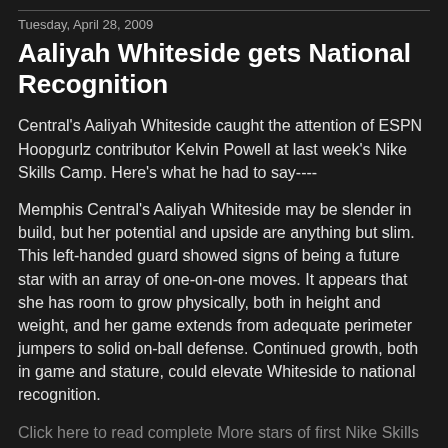Tuesday, April 28, 2009
Aaliyah Whiteside gets National Recognition
Central's Aaliyah Whiteside caught the attention of ESPN Hoopgurlz contributor Kelvin Powell at last week's Nike Skills Camp. Here's what he had to say----
Memphis Central's Aaliyah Whiteside may be slender in build, but her potential and upside are anything but slim. This left-handed guard showed signs of being a future star with an array of one-on-one moves. It appears that she has room to grow physically, both in height and weight, and her game extends from adequate perimeter jumpers to solid on-ball defense. Continued growth, both in game and stature, could elevate Whiteside to national recognition.
Click here to read complete More stars of first Nike Skills Academy article